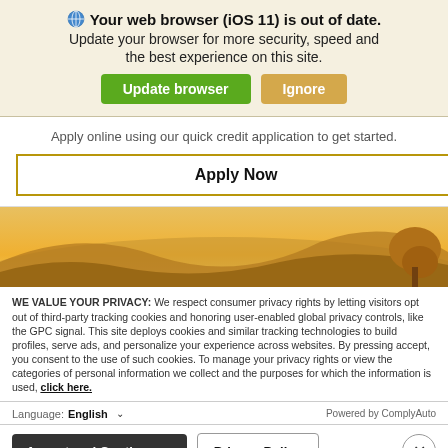Your web browser (iOS 11) is out of date.
Update your browser for more security, speed and the best experience on this site.
Update browser   Ignore
Apply online using our quick credit application to get started.
Apply Now
[Figure (photo): Landscape photo showing golden hills and a tree silhouetted against a warm sunset sky]
WE VALUE YOUR PRIVACY: We respect consumer privacy rights by letting visitors opt out of third-party tracking cookies and honoring user-enabled global privacy controls, like the GPC signal. This site deploys cookies and similar tracking technologies to build profiles, serve ads, and personalize your experience across websites. By pressing accept, you consent to the use of such cookies. To manage your privacy rights or view the categories of personal information we collect and the purposes for which the information is used, click here.
Language: English  ∨  Powered by ComplyAuto
Accept and Continue →   Privacy Policy   ×